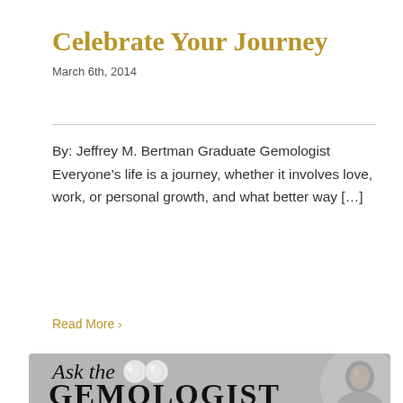Celebrate Your Journey
March 6th, 2014
By: Jeffrey M. Bertman Graduate Gemologist Everyone’s life is a journey, whether it involves love, work, or personal growth, and what better way […]
Read More ›
[Figure (illustration): Banner image with gray background showing 'Ask the Gemologist' text with two diamond/gem illustrations and a photo of a man (Jeffrey M. Bertman) in a circle on the right side.]